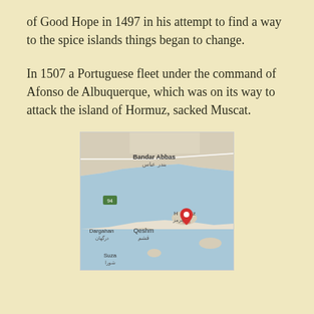of Good Hope in 1497 in his attempt to find a way to the spice islands things began to change.
In 1507 a Portuguese fleet under the command of Afonso de Albuquerque, which was on its way to attack the island of Hormuz, sacked Muscat.
[Figure (map): Google Maps screenshot showing the area around the island of Hormuz in the Strait of Hormuz, with a red location pin on Hormuz island. Visible labels include Bandar Abbas (بندر عباس), Hormuz (هرمز) with pin, Qeshm (قشم), Dargahan (درگهان), and Suza (شورا). A green highway marker labeled 94 is visible on the left.]